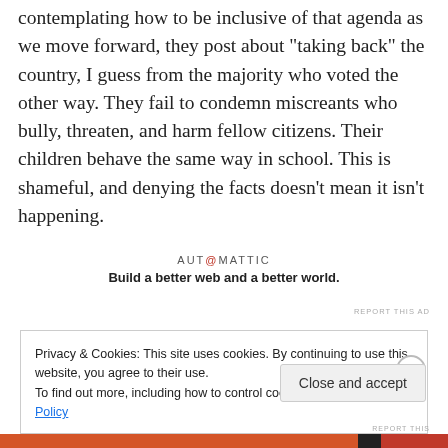contemplating how to be inclusive of that agenda as we move forward, they post about “taking back” the country, I guess from the majority who voted the other way. They fail to condemn miscreants who bully, threaten, and harm fellow citizens. Their children behave the same way in school. This is shameful, and denying the facts doesn’t mean it isn’t happening.
[Figure (other): Automattic advertisement: logo reading 'AUT@MATTIC' and tagline 'Build a better web and a better world.']
REPORT THIS AD
Privacy & Cookies: This site uses cookies. By continuing to use this website, you agree to their use.
To find out more, including how to control cookies, see here: Cookie Policy
Close and accept
REPORT THIS